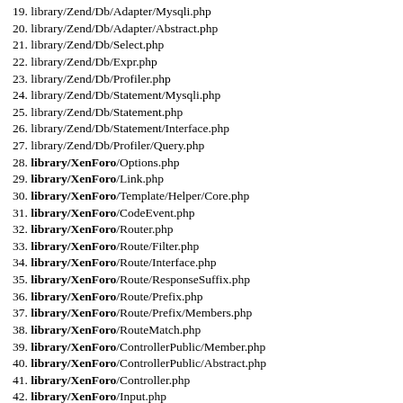19. library/Zend/Db/Adapter/Mysqli.php
20. library/Zend/Db/Adapter/Abstract.php
21. library/Zend/Db/Select.php
22. library/Zend/Db/Expr.php
23. library/Zend/Db/Profiler.php
24. library/Zend/Db/Statement/Mysqli.php
25. library/Zend/Db/Statement.php
26. library/Zend/Db/Statement/Interface.php
27. library/Zend/Db/Profiler/Query.php
28. library/XenForo/Options.php
29. library/XenForo/Link.php
30. library/XenForo/Template/Helper/Core.php
31. library/XenForo/CodeEvent.php
32. library/XenForo/Router.php
33. library/XenForo/Route/Filter.php
34. library/XenForo/Route/Interface.php
35. library/XenForo/Route/ResponseSuffix.php
36. library/XenForo/Route/Prefix.php
37. library/XenForo/Route/Prefix/Members.php
38. library/XenForo/RouteMatch.php
39. library/XenForo/ControllerPublic/Member.php
40. library/XenForo/ControllerPublic/Abstract.php
41. library/XenForo/Controller.php
42. library/XenForo/Input.php
43. library/XenForo/Session.php